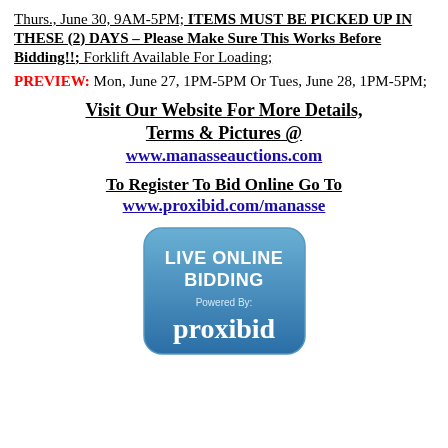Thurs., June 30, 9AM-5PM; ITEMS MUST BE PICKED UP IN THESE (2) DAYS – Please Make Sure This Works Before Bidding!!; Forklift Available For Loading;
PREVIEW: Mon, June 27, 1PM-5PM Or Tues, June 28, 1PM-5PM;
Visit Our Website For More Details, Terms & Pictures @ www.manasseauctions.com
To Register To Bid Online Go To www.proxibid.com/manasse
[Figure (logo): Live Online Bidding Powered By proxibid badge — rounded rectangle with blue gradient background, white text reading LIVE ONLINE BIDDING, smaller text Powered By:, and proxibid logo in white]